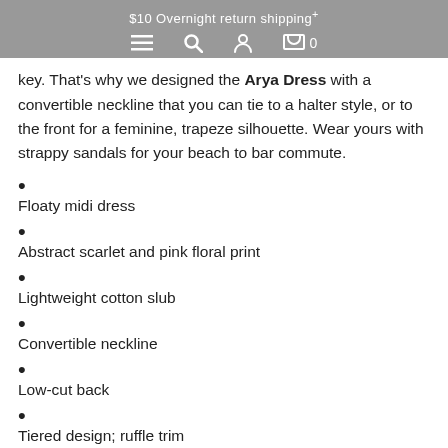$10 Overnight return shipping+
key. That's why we designed the Arya Dress with a convertible neckline that you can tie to a halter style, or to the front for a feminine, trapeze silhouette. Wear yours with strappy sandals for your beach to bar commute.
Floaty midi dress
Abstract scarlet and pink floral print
Lightweight cotton slub
Convertible neckline
Low-cut back
Tiered design; ruffle trim